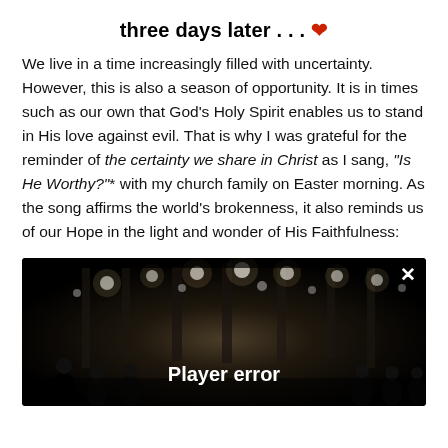three days later . . . ❤
We live in a time increasingly filled with uncertainty. However, this is also a season of opportunity. It is in times such as our own that God's Holy Spirit enables us to stand in His love against evil. That is why I was grateful for the reminder of the certainty we share in Christ as I sang, "Is He Worthy?"* with my church family on Easter morning. As the song affirms the world's brokenness, it also reminds us of our Hope in the light and wonder of His Faithfulness:
[Figure (screenshot): A video player showing a dark concert scene with stage lights and silhouettes of people. A close (×) button appears in the top right corner. Text 'Player error' appears overlaid in white bold text at the center bottom of the video frame.]